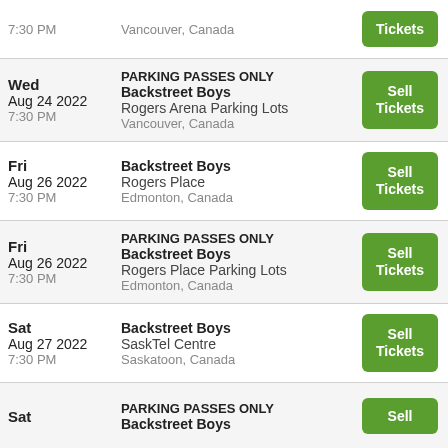7:30 PM | Vancouver, Canada | Sell Tickets (partial row at top)
Wed Aug 24 2022 7:30 PM | PARKING PASSES ONLY Backstreet Boys | Rogers Arena Parking Lots | Vancouver, Canada | Sell Tickets
Fri Aug 26 2022 7:30 PM | Backstreet Boys | Rogers Place | Edmonton, Canada | Sell Tickets
Fri Aug 26 2022 7:30 PM | PARKING PASSES ONLY Backstreet Boys | Rogers Place Parking Lots | Edmonton, Canada | Sell Tickets
Sat Aug 27 2022 7:30 PM | Backstreet Boys | SaskTel Centre | Saskatoon, Canada | Sell Tickets
Sat | PARKING PASSES ONLY Backstreet Boys | Sell (partial row at bottom)